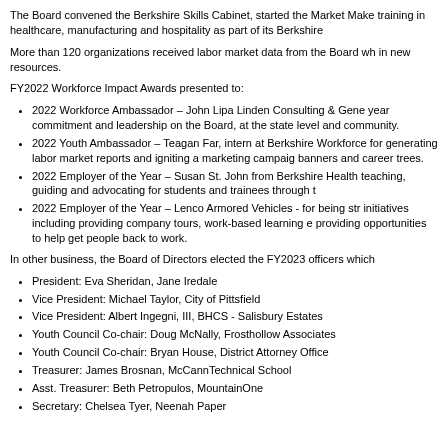The Board convened the Berkshire Skills Cabinet, started the Market Make training in healthcare, manufacturing and hospitality as part of its Berkshire
More than 120 organizations received labor market data from the Board wh in new resources.
FY2022 Workforce Impact Awards presented to:
2022 Workforce Ambassador – John Lipa Linden Consulting & Gene year commitment and leadership on the Board, at the state level and community.
2022 Youth Ambassador – Teagan Far, intern at Berkshire Workforce for generating labor market reports and igniting a marketing campaig banners and career trees.
2022 Employer of the Year – Susan St. John from Berkshire Health teaching, guiding and advocating for students and trainees through t
2022 Employer of the Year – Lenco Armored Vehicles - for being str initiatives including providing company tours, work-based learning e providing opportunities to help get people back to work.
In other business, the Board of Directors elected the FY2023 officers which
President: Eva Sheridan, Jane Iredale
Vice President: Michael Taylor, City of Pittsfield
Vice President: Albert Ingegni, III, BHCS - Salisbury Estates
Youth Council Co-chair: Doug McNally, Frosthollow Associates
Youth Council Co-chair: Bryan House, District Attorney Office
Treasurer: James Brosnan, McCannTechnical School
Asst. Treasurer: Beth Petropulos, MountainOne
Secretary: Chelsea Tyer, Neenah Paper